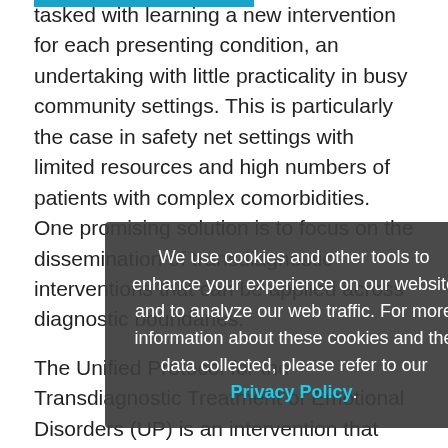tasked with learning a new intervention for each presenting condition, an undertaking with little practicality in busy community settings. This is particularly the case in safety net settings with limited resources and high numbers of patients with complex comorbidities. One promising solution is to focus on the dissemination of transdiagnostic interventions that can be applied across diagnostic boundaries.
The Unified Protocol for the Transdiagnostic Treatment of Emotional Disorders (UP) is an intervention that can be applied to a range of disorders. The UP is a cognitive behavioral treatment explicitly designed to address anxiety, depressive and related disorders. The overarching goal of this project is to implement the UP, as the first-line treatment for patients at a outpatient service of the Boston Health Care for the Homeless Program (BHCHP).
We use cookies and other tools to enhance your experience on our website and to analyze our web traffic. For more information about these cookies and the data collected, please refer to our Privacy Policy.
BHCHP is a safety net setting with a mission of providing